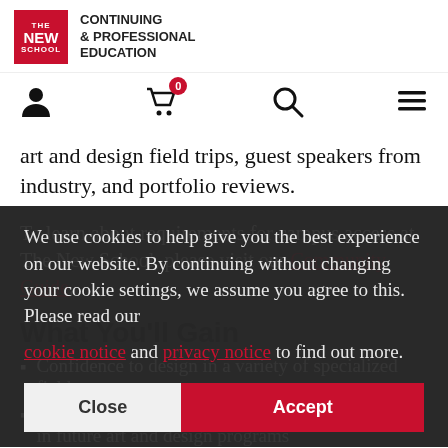[Figure (logo): The New School Continuing & Professional Education logo — red square with white text 'THE NEW SCHOOL' on the left, and 'CONTINUING & PROFESSIONAL EDUCATION' text on the right]
[Figure (infographic): Navigation bar with user icon, shopping cart icon with red badge showing '0', search icon, and hamburger menu icon]
art and design field trips, guest speakers from industry, and portfolio reviews.
To learn about requirements for campus access at The New School, please visit our Community Guide.
What You'll Gain
Confidence to design in a variety of specialized fields
Technical and creative skills necessary for success in future art and design programs
Three college credits
We use cookies to help give you the best experience on our website. By continuing without changing your cookie settings, we assume you agree to this. Please read our cookie notice and privacy notice to find out more.